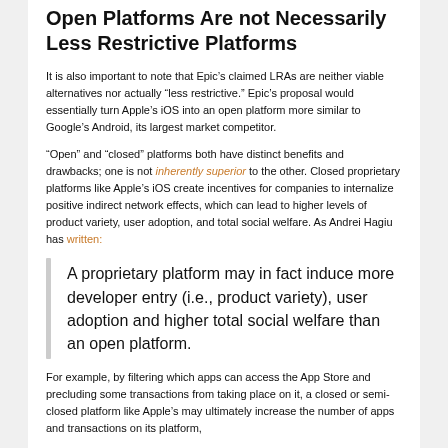Open Platforms Are not Necessarily Less Restrictive Platforms
It is also important to note that Epic’s claimed LRAs are neither viable alternatives nor actually “less restrictive.” Epic’s proposal would essentially turn Apple’s iOS into an open platform more similar to Google’s Android, its largest market competitor.
“Open” and “closed” platforms both have distinct benefits and drawbacks; one is not inherently superior to the other. Closed proprietary platforms like Apple’s iOS create incentives for companies to internalize positive indirect network effects, which can lead to higher levels of product variety, user adoption, and total social welfare. As Andrei Hagiu has written:
A proprietary platform may in fact induce more developer entry (i.e., product variety), user adoption and higher total social welfare than an open platform.
For example, by filtering which apps can access the App Store and precluding some transactions from taking place on it, a closed or semi-closed platform like Apple’s may ultimately increase the number of apps and transactions on its platform,